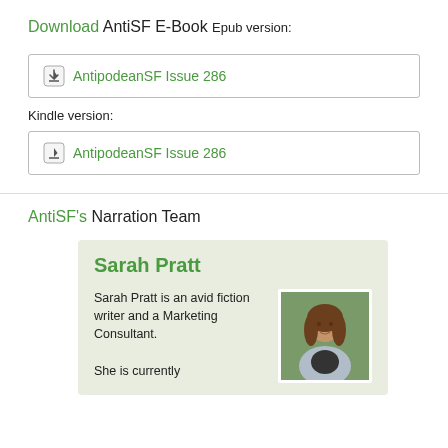Download AntiSF E-Book
Epub version:
AntipodeanSF Issue 286
Kindle version:
AntipodeanSF Issue 286
AntiSF's Narration Team
Sarah Pratt
Sarah Pratt is an avid fiction writer and a Marketing Consultant.
She is currently
[Figure (photo): Photo of Sarah Pratt, a young woman with long brown hair, wearing a light jacket, photographed outdoors with greenery in background.]